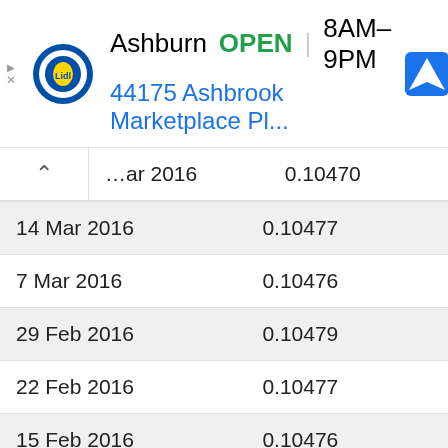[Figure (screenshot): Lidl advertisement banner showing Ashburn store location, OPEN status, hours 8AM-9PM, address 44175 Ashbrook Marketplace Pl..., with Lidl logo and navigation icon]
| Date | Value |
| --- | --- |
| ... Mar 2016 | 0.10470 |
| 14 Mar 2016 | 0.10477 |
| 7 Mar 2016 | 0.10476 |
| 29 Feb 2016 | 0.10479 |
| 22 Feb 2016 | 0.10477 |
| 15 Feb 2016 | 0.10476 |
| 8 Feb 2016 | 0.10470 |
| 1 Feb 2016 | 0.10478 |
| 25 Jan 2016 | 0.10477 |
| 18 Jan 2016 | 0.10473 |
| 11 Jan 2016 | 0.10478 |